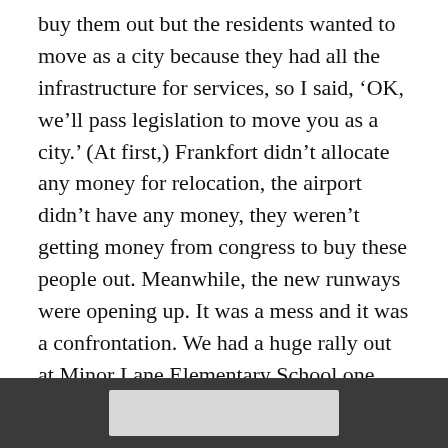buy them out but the residents wanted to move as a city because they had all the infrastructure for services, so I said, ‘OK, we’ll pass legislation to move you as a city.’ (At first,) Frankfort didn’t allocate any money for relocation, the airport didn’t have any money, they weren’t getting money from congress to buy these people out. Meanwhile, the new runways were opening up. It was a mess and it was a confrontation. We had a huge rally out at Minor Lane Elementary School one night and it was wall-to-wall people just furious at local government because of how they